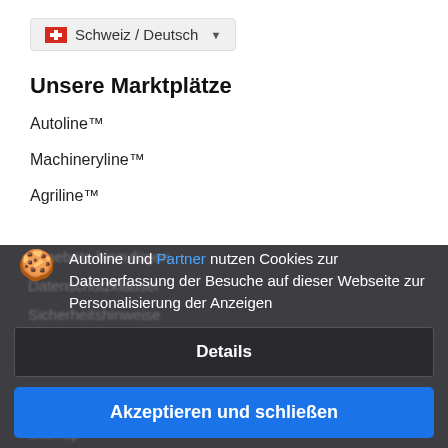[Figure (screenshot): Locale selector showing Swiss flag and 'Schweiz / Deutsch' with dropdown arrow]
Unsere Marktplätze
Autoline™
Machineryline™
Agriline™
Autoline und Partner nutzen Cookies zur Datenerfassung der Besuche auf dieser Webseite zur Personalisierung der Anzeigen
Details
Akzeptieren und schließen